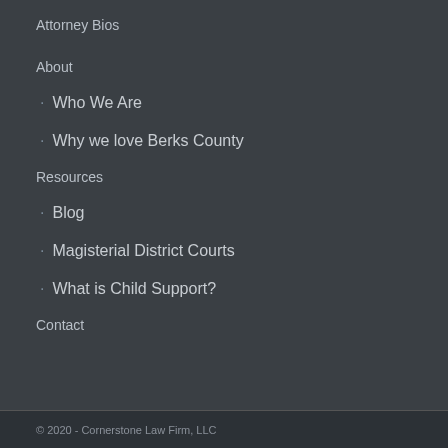Attorney Bios
About
Who We Are
Why we love Berks County
Resources
Blog
Magisterial District Courts
What is Child Support?
Contact
© 2020 - Cornerstone Law Firm, LLC